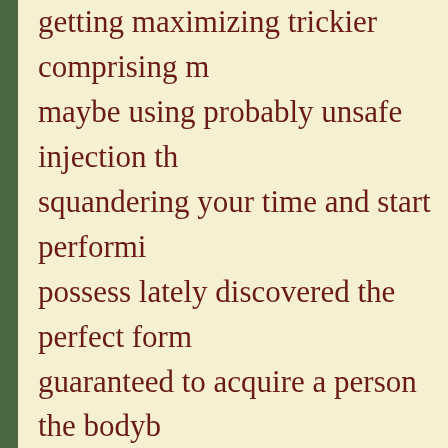getting maximizing trickier comprising maybe using probably unsafe injection squandering your time and start performing possess lately discovered the perfect form guaranteed to acquire a person the bodyb also assist you carry out your totally best Supplement in conjunction with Refuel S Do you think you're prepared to get starte an advantage in excess of some other gen really minimal and also marketing extrem with this exceptional cope currently! Sim the way to be able to forming your own p totally greatest. INTEREST- Latest resea combining Blackline Elite Supplement a